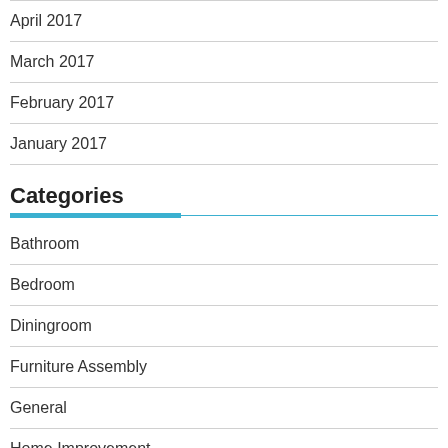April 2017
March 2017
February 2017
January 2017
Categories
Bathroom
Bedroom
Diningroom
Furniture Assembly
General
Home Improvement
House